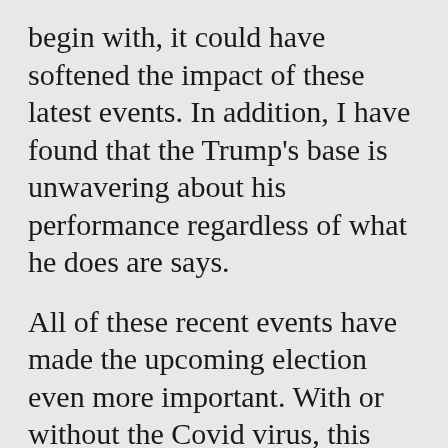begin with, it could have softened the impact of these latest events. In addition, I have found that the Trump's base is unwavering about his performance regardless of what he does are says.
All of these recent events have made the upcoming election even more important. With or without the Covid virus, this country needs to turnout and cast their vote in November. Don't complain about who was elected for the next four years, after the votes are cast, if your